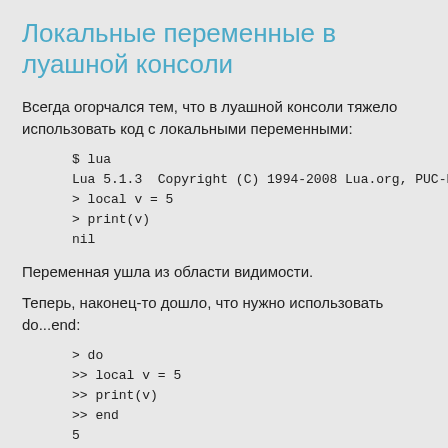Локальные переменные в луашной консоли
Всегда огорчался тем, что в луашной консоли тяжело использовать код с локальными переменными:
$ lua
Lua 5.1.3  Copyright (C) 1994-2008 Lua.org, PUC-Rio
> local v = 5
> print(v)
nil
Переменная ушла из области видимости.
Теперь, наконец-то дошло, что нужно использовать do...end:
> do
>> local v = 5
>> print(v)
>> end
5